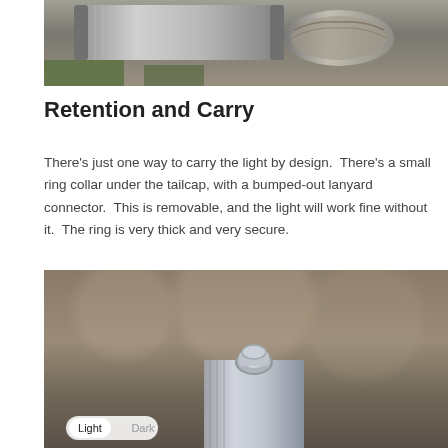[Figure (photo): Close-up photo of metallic cylindrical flashlight parts and a decorative ring on a wooden surface]
Retention and Carry
There’s just one way to carry the light by design.  There’s a small ring collar under the tailcap, with a bumped-out lanyard connector.  This is removable, and the light will work fine without it.  The ring is very thick and very secure.
[Figure (photo): Close-up photo of a flashlight tailcap with a lanyard ring connector, blurred brown background, with a Light/Dark toggle UI element in the lower left corner]